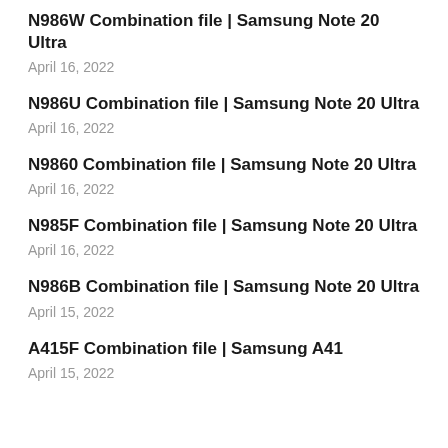N986W Combination file | Samsung Note 20 Ultra
April 16, 2022
N986U Combination file | Samsung Note 20 Ultra
April 16, 2022
N9860 Combination file | Samsung Note 20 Ultra
April 16, 2022
N985F Combination file | Samsung Note 20 Ultra
April 16, 2022
N986B Combination file | Samsung Note 20 Ultra
April 15, 2022
A415F Combination file | Samsung A41
April 15, 2022